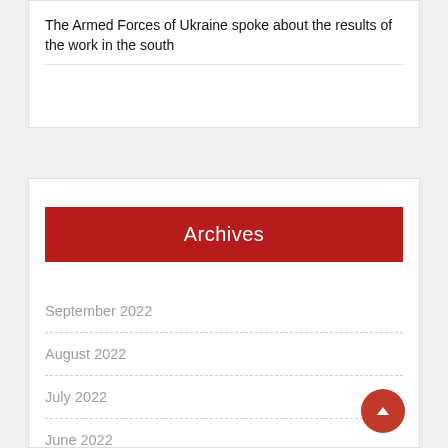The Armed Forces of Ukraine spoke about the results of the work in the south
Archives
September 2022
August 2022
July 2022
June 2022
May 2022